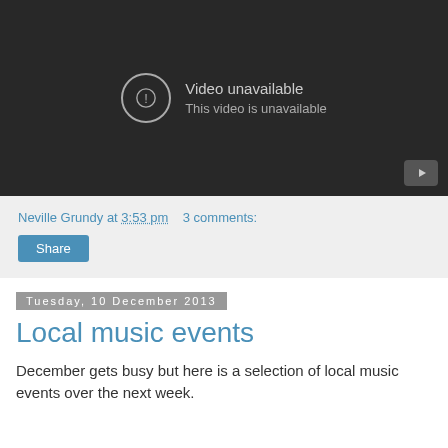[Figure (screenshot): YouTube embedded video player showing 'Video unavailable' error message with exclamation icon in a circle and YouTube play button in the bottom right corner on a dark background.]
Neville Grundy at 3:53 pm   3 comments:
Share
Tuesday, 10 December 2013
Local music events
December gets busy but here is a selection of local music events over the next week.